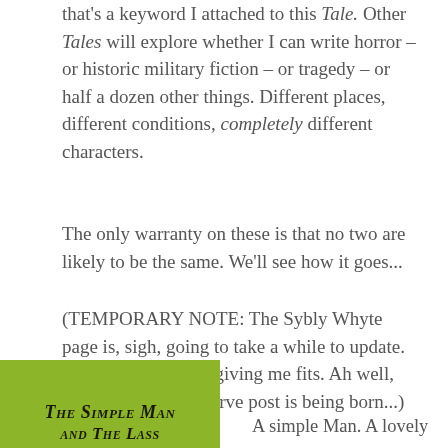that's a keyword I attached to this Tale. Other Tales will explore whether I can write horror – or historic military fiction – or tragedy – or half a dozen other things. Different places, different conditions, completely different characters.
The only warranty on these is that no two are likely to be the same. We'll see how it goes...
(TEMPORARY NOTE: The Sybly Whyte page is, sigh, going to take a while to update. Multiple covers are giving me fits. Ah well, another Learning Curve post is being born...)
[Figure (illustration): Book cover with olive/yellow-green background showing title 'The Simple Man and The Lass' in bold italic small-caps black text]
A simple Man. A lovely